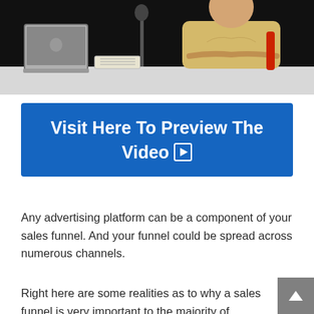[Figure (photo): A person in a yellow shirt sitting at a white desk with a MacBook laptop, in a dark studio setting.]
Visit Here To Preview The Video ▶
Any advertising platform can be a component of your sales funnel. And your funnel could be spread across numerous channels.
Right here are some realities as to why a sales funnel is very important to the majority of companies. Your sales funnel